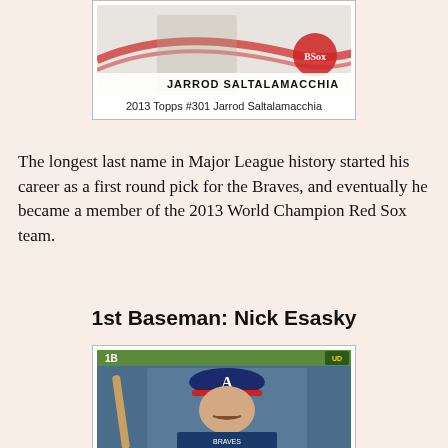[Figure (photo): 2013 Topps baseball card #301 showing Jarrod Saltalamacchia in a Boston Red Sox uniform with the team logo]
2013 Topps #301 Jarrod Saltalamacchia
The longest last name in Major League history started his career as a first round pick for the Braves, and eventually he became a member of the 2013 World Champion Red Sox team.
1st Baseman: Nick Esasky
[Figure (photo): Baseball card showing Nick Esasky in an Atlanta Braves uniform holding a bat, with a green stripe header showing '1B' and the Upper Deck logo]